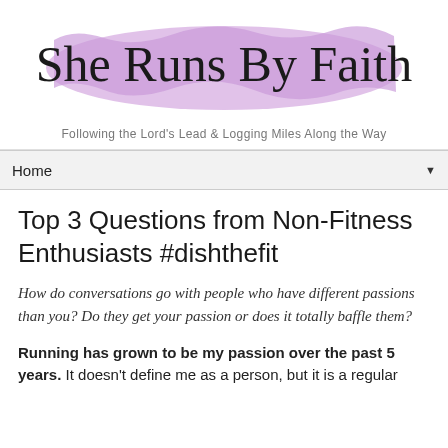[Figure (logo): She Runs By Faith blog logo with cursive text on a purple brush stroke background]
Following the Lord's Lead & Logging Miles Along the Way
Home ▼
Top 3 Questions from Non-Fitness Enthusiasts #dishthefit
How do conversations go with people who have different passions than you? Do they get your passion or does it totally baffle them?
Running has grown to be my passion over the past 5 years. It doesn't define me as a person, but it is a regular